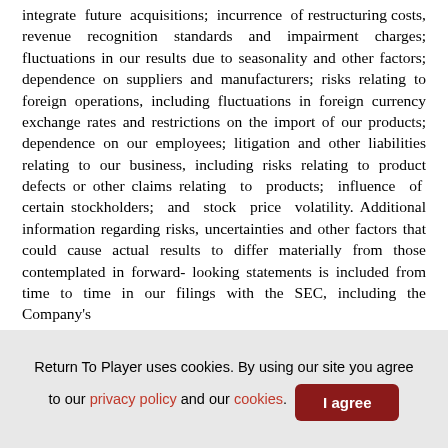integrate future acquisitions; incurrence of restructuring costs, revenue recognition standards and impairment charges; fluctuations in our results due to seasonality and other factors; dependence on suppliers and manufacturers; risks relating to foreign operations, including fluctuations in foreign currency exchange rates and restrictions on the import of our products; dependence on our employees; litigation and other liabilities relating to our business, including risks relating to product defects or other claims relating to products; influence of certain stockholders; and stock price volatility. Additional information regarding risks, uncertainties and other factors that could cause actual results to differ materially from those contemplated in forward-looking statements is included from time to time in our filings with the SEC, including the Company's
Return To Player uses cookies. By using our site you agree to our privacy policy and our cookies.